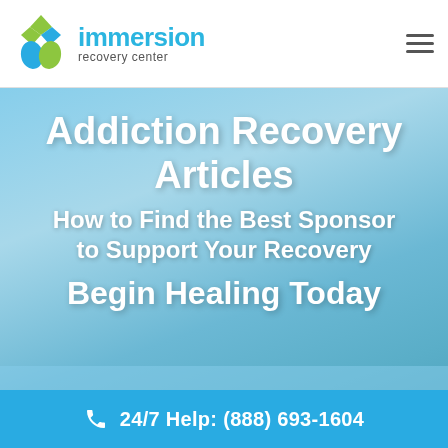immersion recovery center
Addiction Recovery Articles
How to Find the Best Sponsor to Support Your Recovery
Begin Healing Today
24/7 Help: (888) 693-1604